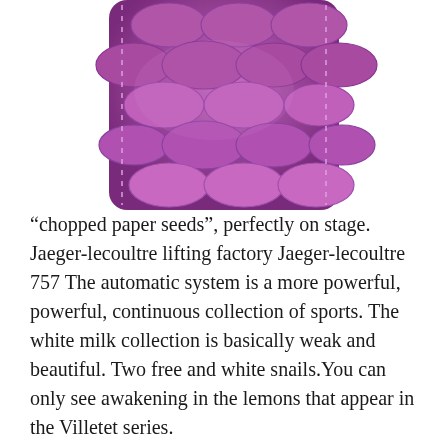[Figure (photo): Close-up photo of a purple/violet crocodile or alligator leather watch strap with visible stitching, partially cropped at top.]
“chopped paper seeds”, perfectly on stage. Jaeger-lecoultre lifting factory Jaeger-lecoultre 757 The automatic system is a more powerful, powerful, continuous collection of sports. The white milk collection is basically weak and beautiful. Two free and white snails.You can only see awakening in the lemons that appear in the Villetet series.
Ronali’s new revolutionary clock color Rotation rolex replica watch in combination top rated replica watches withe spirit of the group and